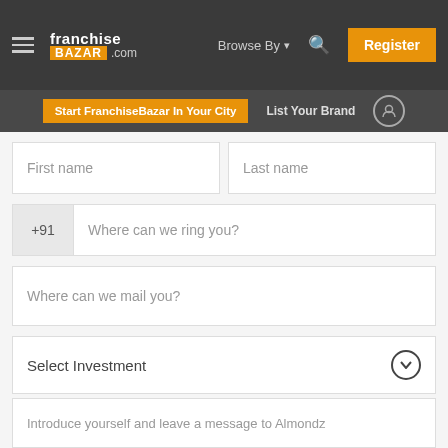[Figure (screenshot): FranchiseBazar.com website navigation header with hamburger menu, logo, Browse By dropdown, search icon, and orange Register button]
Start FranchiseBazar In Your City
List Your Brand
First name
Last name
+91
Where can we ring you?
Where can we mail you?
Select Investment
Select State
Select City
Introduce yourself and leave a message to Almondz